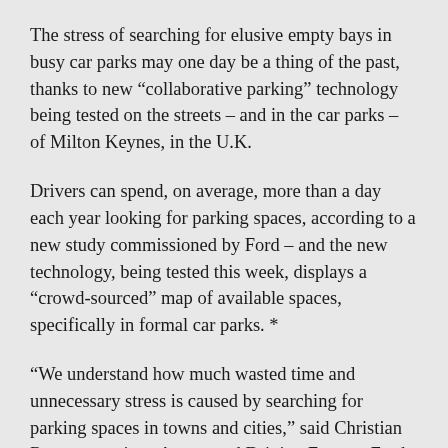The stress of searching for elusive empty bays in busy car parks may one day be a thing of the past, thanks to new “collaborative parking” technology being tested on the streets – and in the car parks – of Milton Keynes, in the U.K.
Drivers can spend, on average, more than a day each year looking for parking spaces, according to a new study commissioned by Ford – and the new technology, being tested this week, displays a “crowd-sourced” map of available spaces, specifically in formal car parks. *
“We understand how much wasted time and unnecessary stress is caused by searching for parking spaces in towns and cities,” said Christian Ress, supervisor, Automated Driving Europe, Ford Research and Advanced Engineering. “With our research into ‘collaborative parking’, we see an opportunity to hand the ...